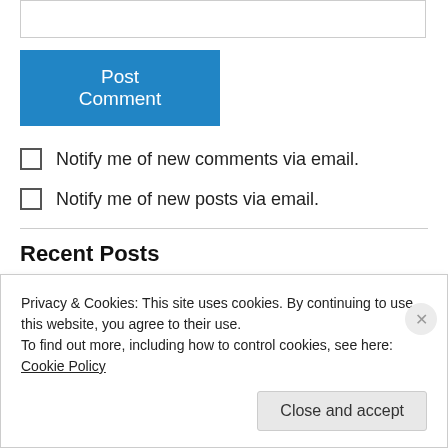[Figure (screenshot): Empty textarea input box]
Post Comment
Notify me of new comments via email.
Notify me of new posts via email.
Recent Posts
1. Identity?
Privacy & Cookies: This site uses cookies. By continuing to use this website, you agree to their use.
To find out more, including how to control cookies, see here: Cookie Policy
Close and accept